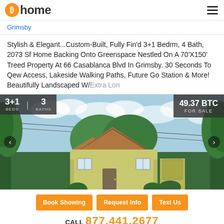Bitcoin Home
Grimsby
Stylish & Elegant...Custom-Built, Fully Fin'd 3+1 Bedrm, 4 Bath, 2073 Sf Home Backing Onto Greenspace Nestled On A 70'X150' Treed Property At 66 Casablanca Blvd In Grimsby. 30 Seconds To Qew Access, Lakeside Walking Paths, Future Go Station & More! Beautifully Landscaped W/Extra Lon
[Figure (photo): Exterior photo of a yellow/cream custom-built house with peaked roofs surrounded by mature trees, overlaid with property stats: 3+1 BEDS, 3 BATHS, 49.37 BTC FOR SALE]
Book Showing   Request Info   Text Us
CALL 877.441.2677